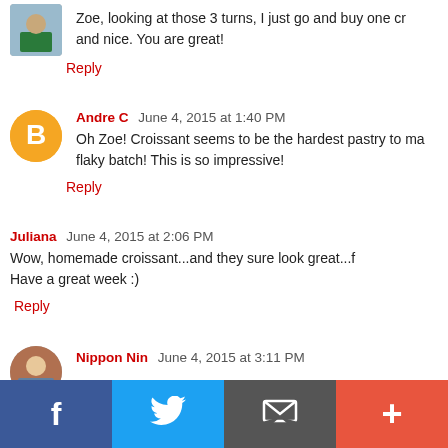Zoe, looking at those 3 turns, I just go and buy one cr... and nice. You are great!
Reply
Andre C  June 4, 2015 at 1:40 PM
Oh Zoe! Croissant seems to be the hardest pastry to ma... flaky batch! This is so impressive!
Reply
Juliana  June 4, 2015 at 2:06 PM
Wow, homemade croissant...and they sure look great...f... Have a great week :)
Reply
Nippon Nin  June 4, 2015 at 3:11 PM